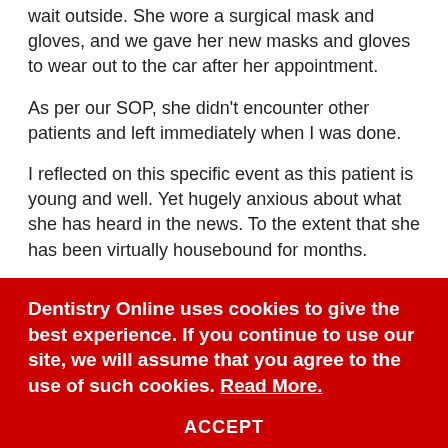wait outside. She wore a surgical mask and gloves, and we gave her new masks and gloves to wear out to the car after her appointment.
As per our SOP, she didn't encounter other patients and left immediately when I was done.
I reflected on this specific event as this patient is young and well. Yet hugely anxious about what she has heard in the news. To the extent that she has been virtually housebound for months.
It really hit home that anxiety, lack of confidence and depression are going to be such huge issues by the time the
Dentistry Online uses cookies to give the best experience. If you continue to use our site, we will assume that you agree to the use of such cookies. Read More.
ACCEPT